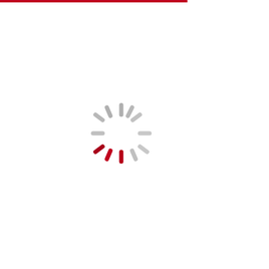[Figure (other): Loading spinner icon with grey spokes around a circle center and three red/dark red spokes at the bottom, indicating a loading/wait state. A red horizontal bar appears at the top left of the page.]